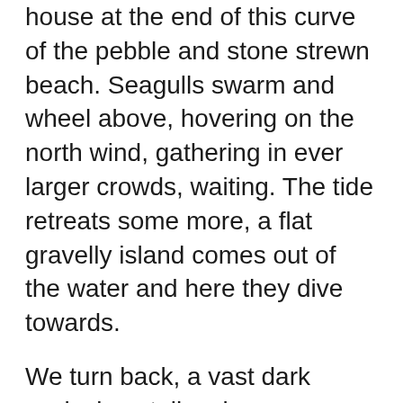house at the end of this curve of the pebble and stone strewn beach. Seagulls swarm and wheel above, hovering on the north wind, gathering in ever larger crowds, waiting. The tide retreats some more, a flat gravelly island comes out of the water and here they dive towards.
We turn back, a vast dark occlusion stalks above us, walking the beach it stings, pricks, strikes, tries to blow us over. A delight in the shock of feral elements normally seen from within somewhere safe, inside, though glass. We decide in our wetness though, the third time in three days we find ourselves in this state, to walk home along the road. Almost lost, not sure if it will lead us astray. The yellow